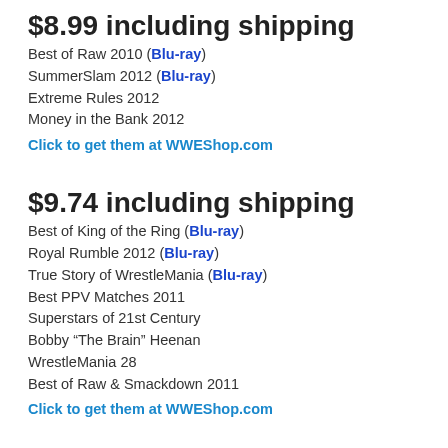$8.99 including shipping
Best of Raw 2010 (Blu-ray)
SummerSlam 2012 (Blu-ray)
Extreme Rules 2012
Money in the Bank 2012
Click to get them at WWEShop.com
$9.74 including shipping
Best of King of the Ring (Blu-ray)
Royal Rumble 2012 (Blu-ray)
True Story of WrestleMania (Blu-ray)
Best PPV Matches 2011
Superstars of 21st Century
Bobby “The Brain” Heenan
WrestleMania 28
Best of Raw & Smackdown 2011
Click to get them at WWEShop.com